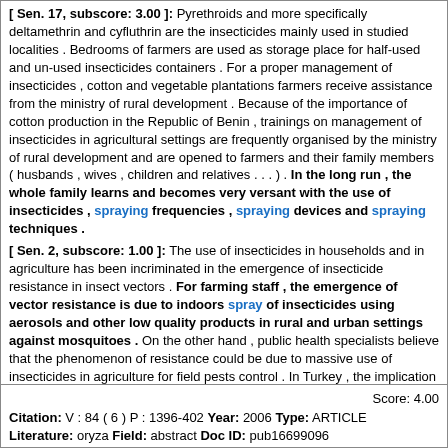[ Sen. 17, subscore: 3.00 ]: Pyrethroids and more specifically deltamethrin and cyfluthrin are the insecticides mainly used in studied localities . Bedrooms of farmers are used as storage place for half-used and un-used insecticides containers . For a proper management of insecticides , cotton and vegetable plantations farmers receive assistance from the ministry of rural development . Because of the importance of cotton production in the Republic of Benin , trainings on management of insecticides in agricultural settings are frequently organised by the ministry of rural development and are opened to farmers and their family members ( husbands , wives , children and relatives . . . ) . In the long run , the whole family learns and becomes very versant with the use of insecticides , spraying frequencies , spraying devices and spraying techniques .
[ Sen. 2, subscore: 1.00 ]: The use of insecticides in households and in agriculture has been incriminated in the emergence of insecticide resistance in insect vectors . For farming staff , the emergence of vector resistance is due to indoors spray of insecticides using aerosols and other low quality products in rural and urban settings against mosquitoes . On the other hand , public health specialists believe that the phenomenon of resistance could be due to massive use of insecticides in agriculture for field pests control . In Turkey , the implication of agricultural use of pesticides in the selection of vector resistance is clearly established . This study was framed to identify potential practices favouring the emergence of insecticide resistance in the Republic of Benin . Interviews and focus group discussions were organized with cotton , rice and vegetables farmers .
Score: 4.00
Citation: V : 84 ( 6 ) P : 1396-402 Year: 2006 Type: ARTICLE
Literature: oryza Field: abstract Doc ID: pub16699096